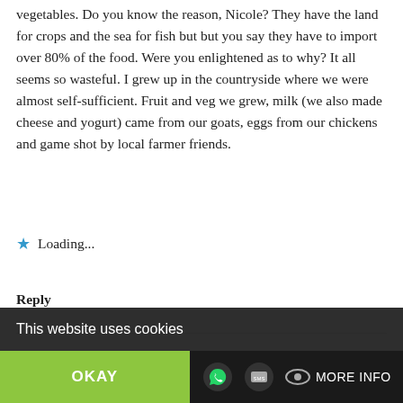vegetables. Do you know the reason, Nicole? They have the land for crops and the sea for fish but but you say they have to import over 80% of the food. Were you enlightened as to why? It all seems so wasteful. I grew up in the countryside where we were almost self-sufficient. Fruit and veg we grew, milk (we also made cheese and yogurt) came from our goats, eggs from our chickens and game shot by local farmer friends.
★ Loading...
Reply
thirdevemom-
This website uses cookies
OKAY
MORE INFO